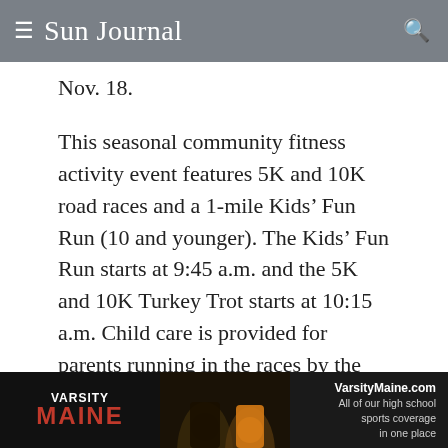Sun Journal
Nov. 18.
This seasonal community fitness activity event features 5K and 10K road races and a 1-mile Kids’ Fun Run (10 and younger). The Kids’ Fun Run starts at 9:45 a.m. and the 5K and 10K Turkey Trot starts at 10:15 a.m. Child care is provided for parents running in the races by the FRC staff.
Early registration ends Thursday, Nov. 16. Race
[Figure (infographic): Advertisement banner for VarsityMaine.com showing football players and text: VARSITY MAINE, VarsityMaine.com, All of our high school sports coverage in one place]